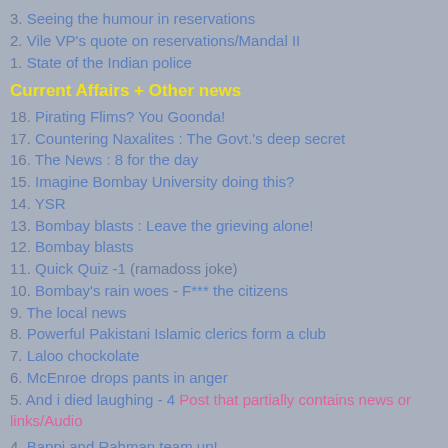3. Seeing the humour in reservations
2. Vile VP's quote on reservations/Mandal II
1. State of the Indian police
Current Affairs + Other news
18. Pirating Flims? You Goonda!
17. Countering Naxalites : The Govt.'s deep secret
16. The News : 8 for the day
15. Imagine Bombay University doing this?
14. YSR
13. Bombay blasts : Leave the grieving alone!
12. Bombay blasts
11. Quick Quiz -1 (ramadoss joke)
10. Bombay's rain woes - F*** the citizens
9. The local news
8. Powerful Pakistani Islamic clerics form a club
7. Laloo chockolate
6. McEnroe drops pants in anger
5. And i died laughing - 4 Post that partially contains news or links/Audio
4. Bappi and Rahman team up!
3. State of the Indian police